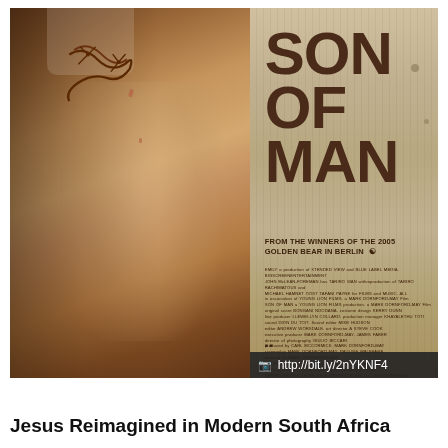[Figure (photo): Movie poster for 'Son of Man' - a film set in modern South Africa. Left side shows a close-up of a person's torso with barbed wire around the neck/shoulder area. Right side shows the title 'SON OF MAN' in large dark bold text on a corrugated metal background, with subtitle 'FROM THE WINNERS OF THE 2005 GOLDEN BEAR IN BERLIN' and film credits text. A URL bar at the bottom reads 'http://bit.ly/2nYKNF4'.]
Jesus Reimagined in Modern South Africa